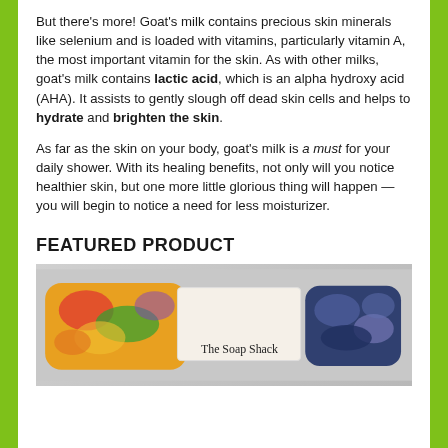But there's more! Goat's milk contains precious skin minerals like selenium and is loaded with vitamins, particularly vitamin A, the most important vitamin for the skin. As with other milks, goat's milk contains lactic acid, which is an alpha hydroxy acid (AHA). It assists to gently slough off dead skin cells and helps to hydrate and brighten the skin.
As far as the skin on your body, goat's milk is a must for your daily shower. With its healing benefits, not only will you notice healthier skin, but one more little glorious thing will happen — you will begin to notice a need for less moisturizer.
FEATURED PRODUCT
[Figure (photo): Photo of The Soap Shack soap bars with colorful swirled patterns and a label reading 'The Soap Shack']